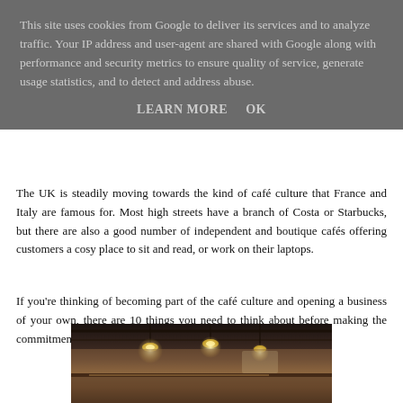This site uses cookies from Google to deliver its services and to analyze traffic. Your IP address and user-agent are shared with Google along with performance and security metrics to ensure quality of service, generate usage statistics, and to detect and address abuse.
LEARN MORE    OK
The UK is steadily moving towards the kind of café culture that France and Italy are famous for. Most high streets have a branch of Costa or Starbucks, but there are also a good number of independent and boutique cafés offering customers a cosy place to sit and read, or work on their laptops.
If you're thinking of becoming part of the café culture and opening a business of your own, there are 10 things you need to think about before making the commitment.
[Figure (photo): Interior of a café showing hanging pendant lights and ceiling details with warm ambient lighting]